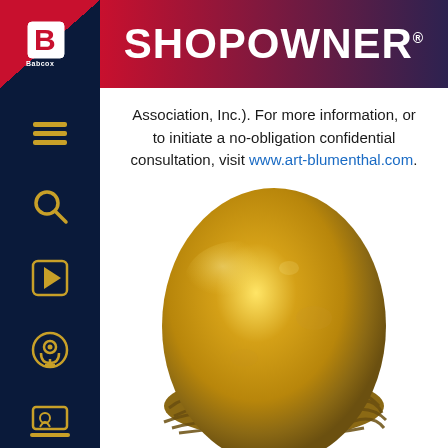SHOPOWNER
Association, Inc.). For more information, or to initiate a no-obligation confidential consultation, visit www.art-blumenthal.com.
[Figure (photo): A large golden egg sitting in a woven twig nest against a white background.]